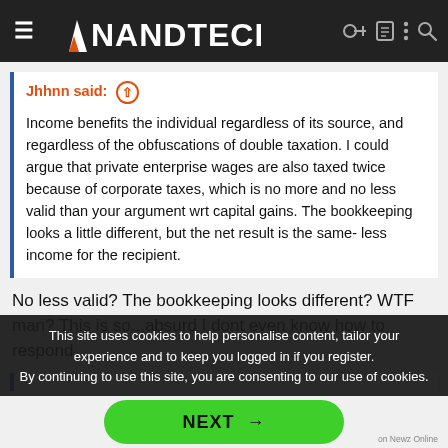AnandTech
Jhhnn said: ↑

Income benefits the individual regardless of its source, and regardless of the obfuscations of double taxation. I could argue that private enterprise wages are also taxed twice because of corporate taxes, which is no more and no less valid than your argument wrt capital gains. The bookkeeping looks a little different, but the net result is the same- less income for the recipient.
No less valid? The bookkeeping looks different? WTF man? This is so...absurd I dont even know how to respond.
This site uses cookies to help personalise content, tailor your experience and to keep you logged in if you register.
By continuing to use this site, you are consenting to our use of cookies.